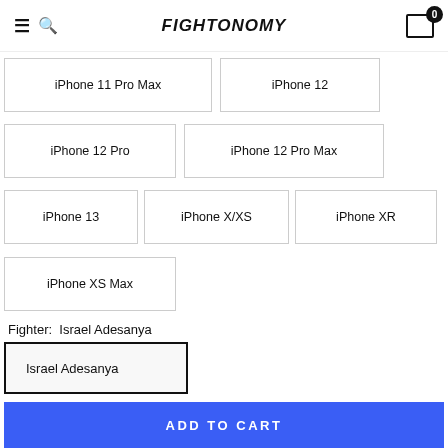FIGHTONOMY
iPhone 11 Pro Max
iPhone 12
iPhone 12 Pro
iPhone 12 Pro Max
iPhone 13
iPhone X/XS
iPhone XR
iPhone XS Max
Fighter: Israel Adesanya
Israel Adesanya